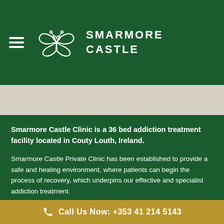[Figure (logo): Smarmore Castle logo with butterfly emblem and brand name text in white on dark green header]
Smarmore Castle Clinic is a 36 bed addiction treatment facility located in Couty Louth, Ireland.
Smarmore Castle Private Clinic has been established to provide a safe and healing environment, where patients can begin the process of recovery, which underpins our effective and specialist addiction treatment.
Smarmore Castle was founded by the directors of Castle
Call Us Now: +353 41 214 5143